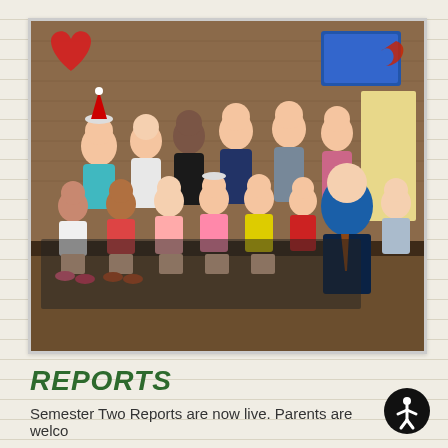[Figure (photo): Group photo of approximately 12 young children wearing Christmas/reindeer hats and a man in a blue shirt and tie, seated and standing in front of a brick wall with a large red heart decoration. The setting appears to be a school or childcare center.]
REPORTS
Semester Two Reports are now live. Parents are welco...